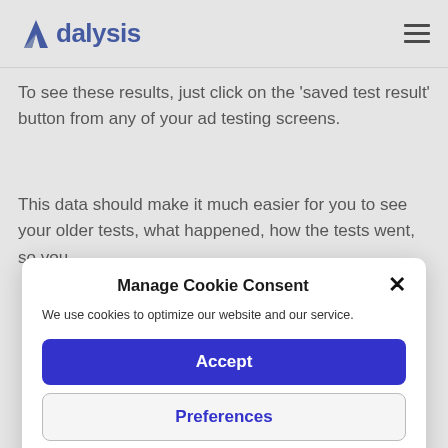[Figure (logo): Adalysis logo with stylized A mark in blue and grey, company name in dark blue]
To see these results, just click on the 'saved test result' button from any of your ad testing screens.
This data should make it much easier for you to see your older tests, what happened, how the tests went, so you
Manage Cookie Consent
We use cookies to optimize our website and our service.
Accept
Preferences
Cookie Policy   Privacy Policy